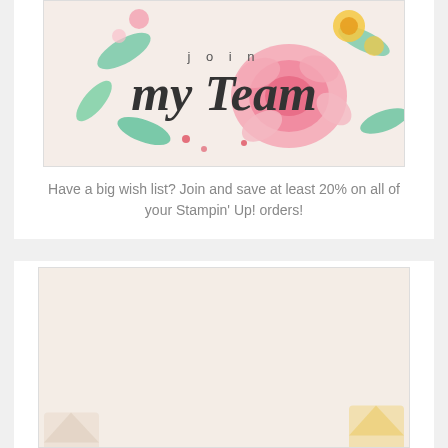[Figure (illustration): Join my Team banner with watercolor floral background (pink roses, green leaves, yellow flowers). Text reads 'join' in spaced letters and 'my Team' in large dark script/italic font.]
Have a big wish list? Join and save at least 20% on all of your Stampin' Up! orders!
[Figure (illustration): Sale-a-bration promotional banner on a light beige background. Large 'SALE' text with each letter in a different color (teal S, pink A, yellow L, red E). Below that 'a-bration!' in italic teal script. Date: 1 JULY-31 AUGUST 2022. Stampin' Up! logo at bottom center, decorative craft items at bottom corners.]